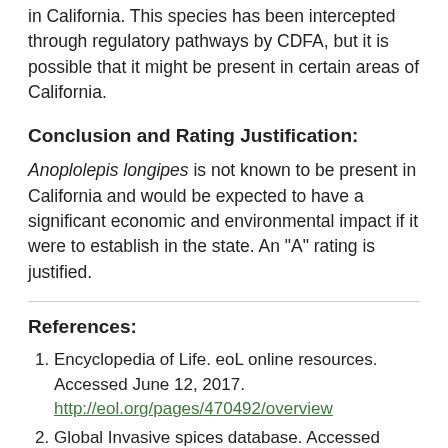in California. This species has been intercepted through regulatory pathways by CDFA, but it is possible that it might be present in certain areas of California.
Conclusion and Rating Justification:
Anoplolepis longipes is not known to be present in California and would be expected to have a significant economic and environmental impact if it were to establish in the state. An "A" rating is justified.
References:
Encyclopedia of Life.  eoL online resources.  Accessed June 12, 2017. http://eol.org/pages/470492/overview
Global Invasive spices database.  Accessed June 12, 2017. http://www.iucngisd.org/gisd/species.php?sc=110
Invasive Species Compendium: Distribution maps for plant